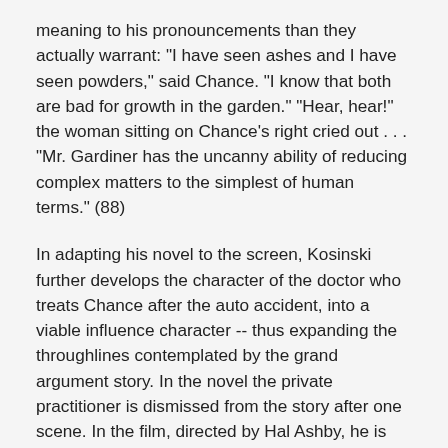meaning to his pronouncements than they actually warrant: "I have seen ashes and I have seen powders," said Chance. "I know that both are bad for growth in the garden." "Hear, hear!" the woman sitting on Chance's right cried out . . . "Mr. Gardiner has the uncanny ability of reducing complex matters to the simplest of human terms." (88)
In adapting his novel to the screen, Kosinski further develops the character of the doctor who treats Chance after the auto accident, into a viable influence character -- thus expanding the throughlines contemplated by the grand argument story. In the novel the private practitioner is dismissed from the story after one scene. In the film, directed by Hal Ashby, he is given the name Dr. Allenby and he remains throughout the course of the story, questioning Chance and ascertaining if Chance is a threat or not to the Rands and society at large.